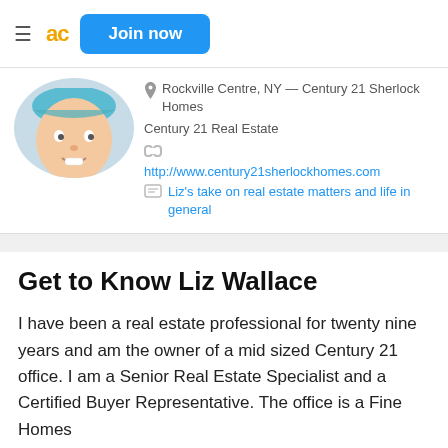≡ ac Join now
Rockville Centre, NY — Century 21 Sherlock Homes
Century 21 Real Estate
http://www.century21sherlockhomes.com
Liz's take on real estate matters and life in general
Get to Know Liz Wallace
I have been a real estate professional for twenty nine years and am the owner of a mid sized Century 21 office.  I am a Senior Real Estate Specialist and a Certified Buyer Representative.  The office is a Fine Homes